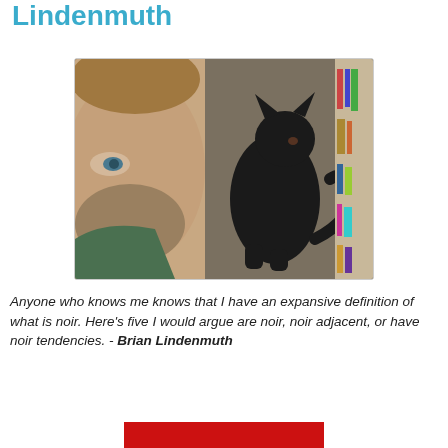Lindenmuth
[Figure (photo): A man with a beard and brown hair on the left side, with a small black kitten standing on his shoulder/chest area in the foreground, and bookshelves visible in the background.]
Anyone who knows me knows that I have an expansive definition of what is noir. Here's five I would argue are noir, noir adjacent, or have noir tendencies. - Brian Lindenmuth